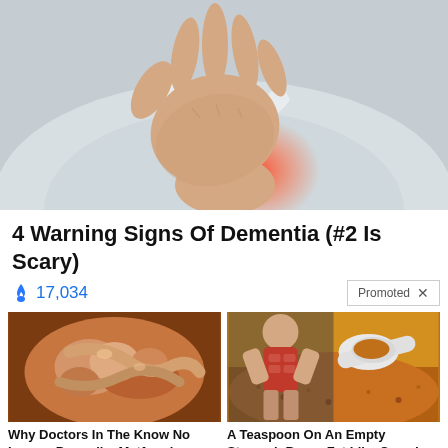[Figure (photo): Person clutching chest with hand, red glow indicating heart/chest pain area, wearing light colored shirt]
4 Warning Signs Of Dementia (#2 Is Scary)
🔥 17,034
Promoted X
[Figure (photo): Close-up medical image of intestinal/organ tissue]
Why Doctors In The Know No Longer Prescribe Metformin
🔥 105,633
[Figure (photo): Fitness woman with abs and spoon with spice/powder]
A Teaspoon On An Empty Stomach Burns Fat Like Crazy!
🔥 130,660